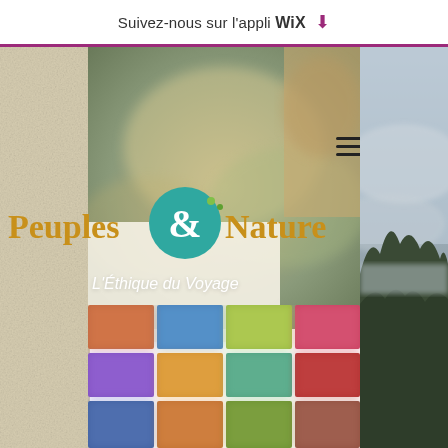Suivez-nous sur l'appli WiX ↓
[Figure (screenshot): Website screenshot showing 'Peuples & Nature - L'Éthique du Voyage' with blurred hero image, logo with teal ampersand circle, hamburger menu, left beige strip, right misty mountain photo, and bottom grid of blurred travel images]
Peuples & Nature
L'Éthique du Voyage